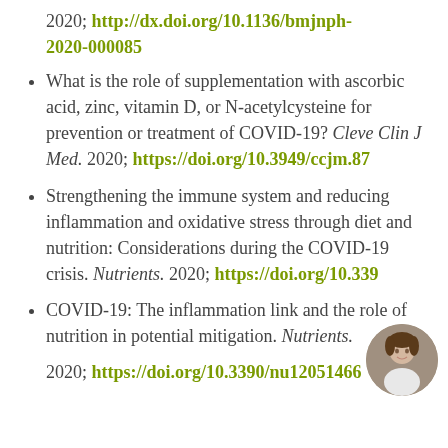2020; http://dx.doi.org/10.1136/bmjnph-2020-000085
What is the role of supplementation with ascorbic acid, zinc, vitamin D, or N-acetylcysteine for prevention or treatment of COVID-19? Cleve Clin J Med. 2020; https://doi.org/10.3949/ccjm.87...
Strengthening the immune system and reducing inflammation and oxidative stress through diet and nutrition: Considerations during the COVID-19 crisis. Nutrients. 2020; https://doi.org/10.339...
COVID-19: The inflammation link and the role of nutrition in potential mitigation. Nutrients. 2020; https://doi.org/10.3390/nu12051466